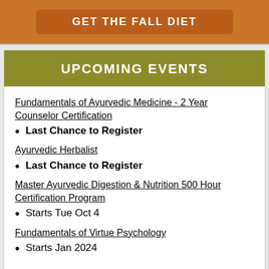[Figure (other): Orange banner with button labeled GET THE FALL DIET]
UPCOMING EVENTS
Fundamentals of Ayurvedic Medicine - 2 Year Counselor Certification
Last Chance to Register
Ayurvedic Herbalist
Last Chance to Register
Master Ayurvedic Digestion & Nutrition 500 Hour Certification Program
Starts Tue Oct 4
Fundamentals of Virtue Psychology
Starts Jan 2024